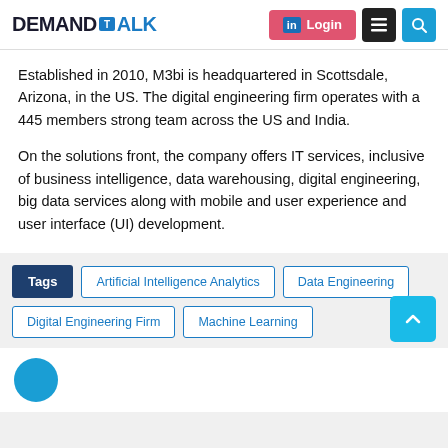DEMANDTALK — Login, Menu, Search
Established in 2010, M3bi is headquartered in Scottsdale, Arizona, in the US. The digital engineering firm operates with a 445 members strong team across the US and India.
On the solutions front, the company offers IT services, inclusive of business intelligence, data warehousing, digital engineering, big data services along with mobile and user experience and user interface (UI) development.
Tags
Artificial Intelligence Analytics
Data Engineering
Digital Engineering Firm
Machine Learning